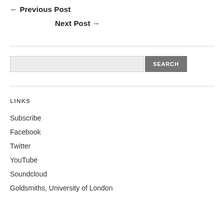← Previous Post
Next Post →
[Figure (other): Horizontal divider line]
[Figure (other): Search bar with text input and SEARCH button]
[Figure (other): Horizontal divider line]
LINKS
Subscribe
Facebook
Twitter
YouTube
Soundcloud
Goldsmiths, University of London